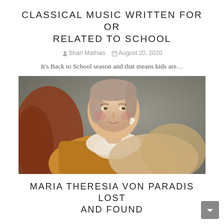CLASSICAL MUSIC WRITTEN FOR OR RELATED TO SCHOOL
Shari Mathias   August 20, 2020
It's Back to School season and that means kids are…
[Figure (photo): Portrait painting of a woman in 18th-century dress, wearing a pearl necklace, with warm golden and muted grey tones. Classic oil portrait style.]
MARIA THERESIA VON PARADIS LOST AND FOUND